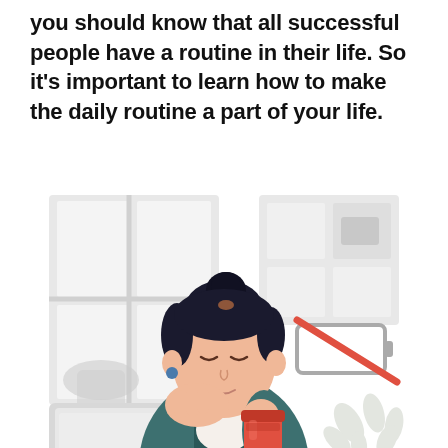you should know that all successful people have a routine in their life. So it's important to learn how to make the daily routine a part of your life.
[Figure (illustration): Flat vector illustration of a tired woman with dark hair in a bun, resting her face on her hand, holding a red coffee cup, sitting in front of a laptop at a desk. Behind her is a large window with a light grey frame. To her right is an empty battery icon with a red diagonal line through it (indicating low/no battery). In the background lower right are decorative grey leaf shapes. The overall color palette is muted greys, teal/dark teal jacket, peach skin tones, and red/coral accents.]